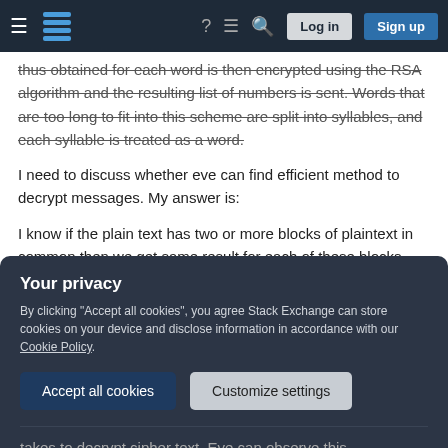Stack Exchange navigation bar with hamburger menu, logo, help, chat, search, Log in, Sign up buttons
thus obtained for each word is then encrypted using the RSA algorithm and the resulting list of numbers is sent. Words that are too long to fit into this scheme are split into syllables, and each syllable is treated as a word.
I need to discuss whether eve can find efficient method to decrypt messages. My answer is:
I know if the plain text has two or more blocks of plaintext in common then we get same result for each of these blocks. This is the bit of information
takes to decrypt cipher text. Eve can observe this
Your privacy
By clicking "Accept all cookies", you agree Stack Exchange can store cookies on your device and disclose information in accordance with our Cookie Policy.
Accept all cookies
Customize settings